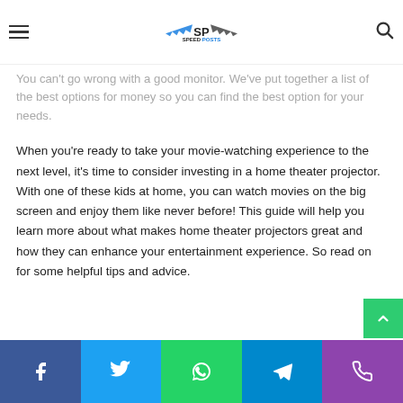SPEED POSTS — navigation header with logo and search
Do you like watching movies and watching at home?
You can't go wrong with a good monitor. We've put together a list of the best options for money so you can find the best option for your needs.
When you're ready to take your movie-watching experience to the next level, it's time to consider investing in a home theater projector. With one of these kids at home, you can watch movies on the big screen and enjoy them like never before! This guide will help you learn more about what makes home theater projectors great and how they can enhance your entertainment experience. So read on for some helpful tips and advice.
Social share bar: Facebook, Twitter, WhatsApp, Telegram, Phone